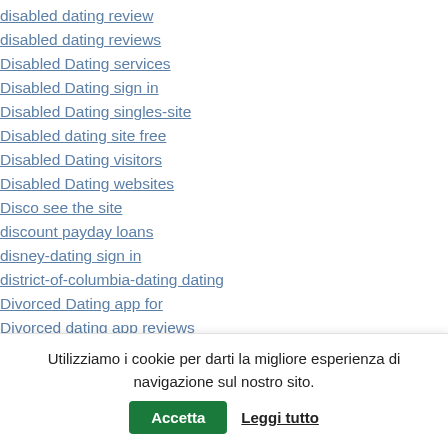disabled dating review
disabled dating reviews
Disabled Dating services
Disabled Dating sign in
Disabled Dating singles-site
Disabled dating site free
Disabled Dating visitors
Disabled Dating websites
Disco see the site
discount payday loans
disney-dating sign in
district-of-columbia-dating dating
Divorced Dating app for
Divorced dating app reviews
Divorced Dating chcete recenzi aplikace
Utilizziamo i cookie per darti la migliore esperienza di navigazione sul nostro sito.
Accetta | Leggi tutto